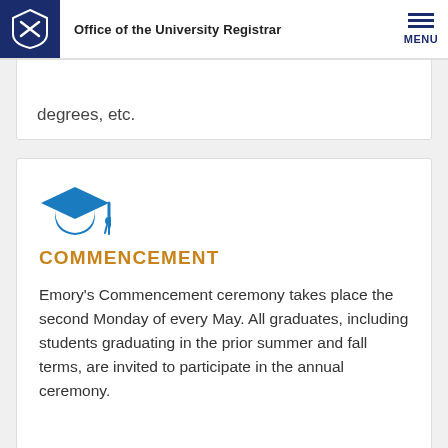Office of the University Registrar
degrees, etc.
[Figure (illustration): Blue graduation cap icon]
COMMENCEMENT
Emory's Commencement ceremony takes place the second Monday of every May. All graduates, including students graduating in the prior summer and fall terms, are invited to participate in the annual ceremony.
[Figure (illustration): Blue speech bubble / chat icon]